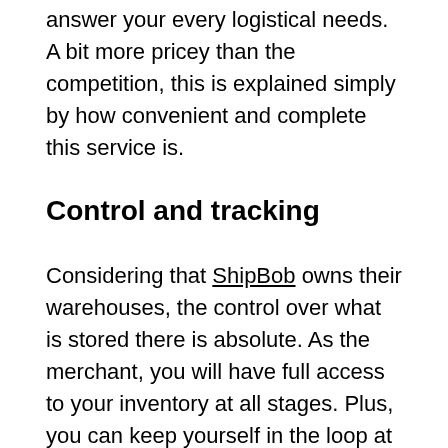answer your every logistical needs. A bit more pricey than the competition, this is explained simply by how convenient and complete this service is.
Control and tracking
Considering that ShipBob owns their warehouses, the control over what is stored there is absolute. As the merchant, you will have full access to your inventory at all stages. Plus, you can keep yourself in the loop at a glance by browsing your ShipBob dashboard.
ShipBob provides a free analytic tool, showing reports and charts to help you make better